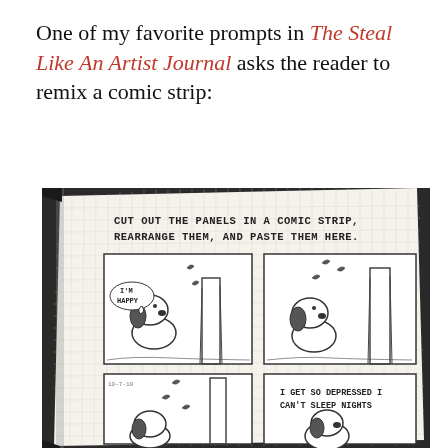One of my favorite prompts in The Steal Like An Artist Journal asks the reader to remix a comic strip:
[Figure (photo): A photograph of an open journal/notebook page from 'The Steal Like An Artist Journal'. The page shows a comic strip activity. Handwritten text at the top reads: 'CUT OUT THE PANELS IN A COMIC STRIP, REARRANGE THEM, AND PASTE THEM HERE.' Below are pasted Peanuts comic strip panels featuring Snoopy near a tree. One panel shows Snoopy with a speech bubble saying 'I'M HAPPY'. Another panel shows Snoopy looking at falling leaves by a tree. A third panel has text reading 'I GET SO DEPRESSED I CAN'T SLEEP NIGHTS'. The journal page has graph/grid paper texture. The background is a dark desk surface.]